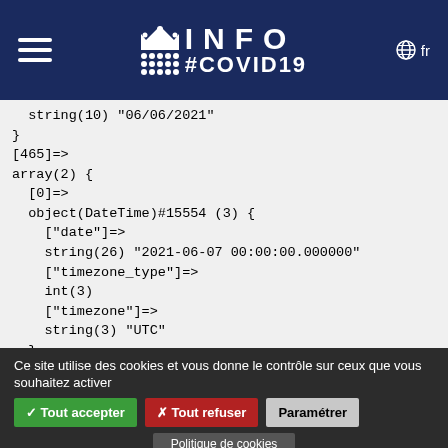[Figure (logo): INFO #COVID19 government website header with hamburger menu, crown logo, INFO #COVID19 text, and language selector showing 'fr']
string(10) "06/06/2021"
}
[465]=>
array(2) {
  [0]=>
  object(DateTime)#15554 (3) {
    ["date"]=>
    string(26) "2021-06-07 00:00:00.000000"
    ["timezone_type"]=>
    int(3)
    ["timezone"]=>
    string(3) "UTC"
  }
  [1]=>
  string(10) "07/06/2021"
}
Ce site utilise des cookies et vous donne le contrôle sur ceux que vous souhaitez activer
✓ Tout accepter
✗ Tout refuser
Paramétrer
Politique de cookies